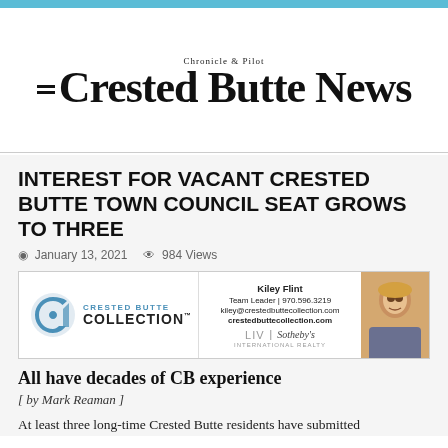[Figure (logo): Crested Butte News - Chronicle & Pilot newspaper logo with two horizontal lines and serif masthead text]
INTEREST FOR VACANT CRESTED BUTTE TOWN COUNCIL SEAT GROWS TO THREE
January 13, 2021   984 Views
[Figure (advertisement): Crested Butte Collection LIV Sotheby's International Realty advertisement featuring Kiley Flint, Team Leader, 970.596.3219, kiley@crestedbuttecollection.com, crestedbuttecollection.com]
All have decades of CB experience
[ by Mark Reaman ]
At least three long-time Crested Butte residents have submitted